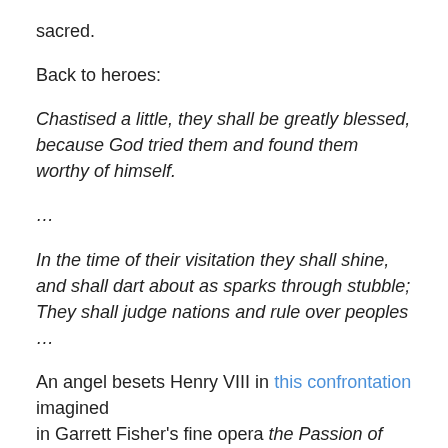sacred.
Back to heroes:
Chastised a little, they shall be greatly blessed, because God tried them and found them worthy of himself.
…
In the time of their visitation they shall shine, and shall dart about as sparks through stubble; They shall judge nations and rule over peoples …
An angel besets Henry VIII in this confrontation imagined in Garrett Fisher's fine opera the Passion of Saint Thomas More. People in power deceive themselves:
Today we will bring him to the Lord, Today we will bring him to the king,